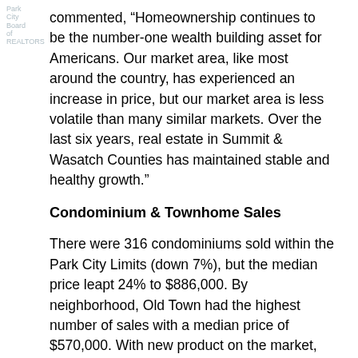Park City Board of REALTORS
commented, “Homeownership continues to be the number-one wealth building asset for Americans. Our market area, like most around the country, has experienced an increase in price, but our market area is less volatile than many similar markets. Over the last six years, real estate in Summit & Wasatch Counties has maintained stable and healthy growth.”
Condominium & Townhome Sales
There were 316 condominiums sold within the Park City Limits (down 7%), but the median price leapt 24% to $886,000. By neighborhood, Old Town had the highest number of sales with a median price of $570,000. With new product on the market, Empire Pass had more than double the number of closed sales than in 2017, with a median price of $8.9M. The affordability of condos in the Park area...